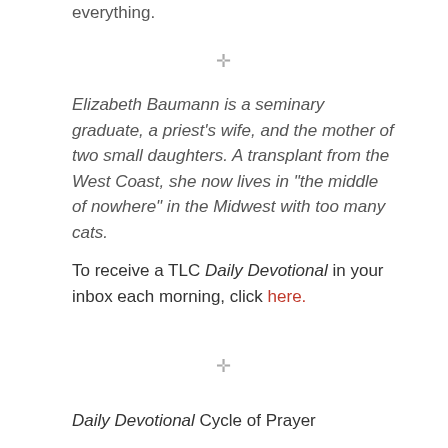everything.
✛
Elizabeth Baumann is a seminary graduate, a priest's wife, and the mother of two small daughters. A transplant from the West Coast, she now lives in “the middle of nowhere” in the Midwest with too many cats.
To receive a TLC Daily Devotional in your inbox each morning, click here.
✛
Daily Devotional Cycle of Prayer